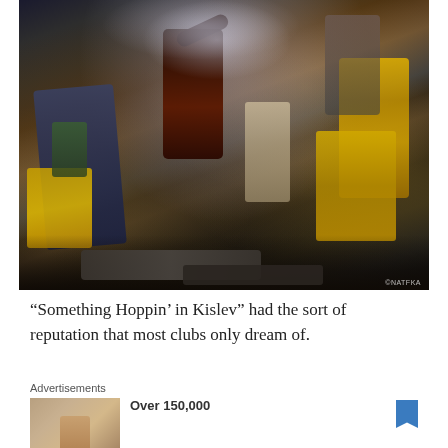[Figure (photo): Photograph of painted Warhammer Fantasy Battle miniatures engaged in combat. Multiple colorful miniatures including chaos daemons, orks in yellow/black armor, and other fantasy figures are shown on a detailed gaming terrain with smoke and battle effects in the background.]
“Something Hoppin’ in Kislev” had the sort of reputation that most clubs only dream of.
Advertisements